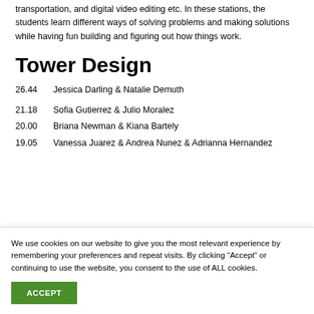transportation, and digital video editing etc. In these stations, the students learn different ways of solving problems and making solutions while having fun building and figuring out how things work.
Tower Design
26.44    Jessica Darling & Natalie Demuth
21.18    Sofia Gutierrez & Julio Moralez
20.00    Briana Newman & Kiana Bartely
19.05    Vanessa Juarez & Andrea Nunez & Adrianna Hernandez
We use cookies on our website to give you the most relevant experience by remembering your preferences and repeat visits. By clicking “Accept” or continuing to use the website, you consent to the use of ALL cookies.